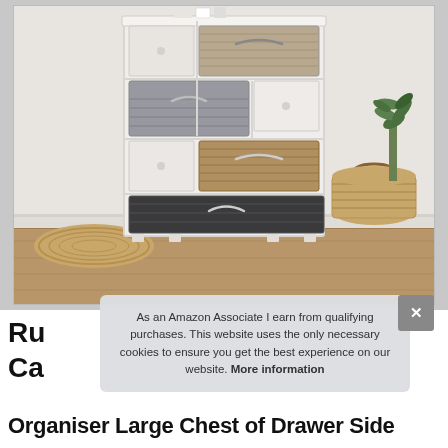[Figure (photo): A white wooden chest of drawers/storage unit with multiple wicker/rattan baskets in beige, grey, brown, and black tones, photographed in a bright room with wooden flooring, a potted plant and woven baskets in the background.]
As an Amazon Associate I earn from qualifying purchases. This website uses the only necessary cookies to ensure you get the best experience on our website. More information
Ru
Ca
Organiser Large Chest of Drawer Side